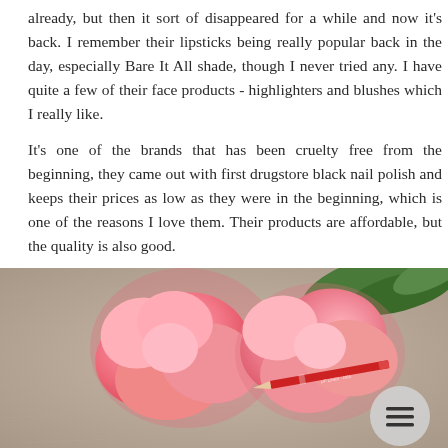already, but then it sort of disappeared for a while and now it's back. I remember their lipsticks being really popular back in the day, especially Bare It All shade, though I never tried any. I have quite a few of their face products - highlighters and blushes which I really like.
It's one of the brands that has been cruelty free from the beginning, they came out with first drugstore black nail polish and keeps their prices as low as they were in the beginning, which is one of the reasons I love them. Their products are affordable, but the quality is also good.
[Figure (photo): A photo of pink roses lying on a textured beige/gray surface, with a red lip liner pencil visible. A circular hamburger menu button is visible in the lower right corner.]